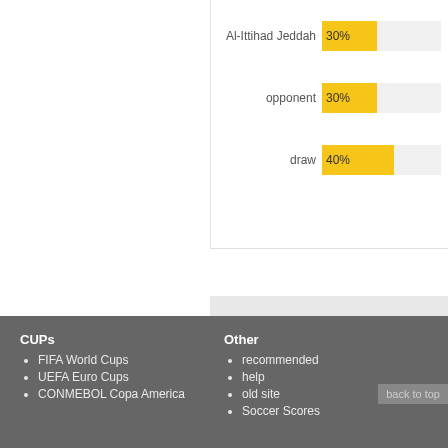[Figure (bar-chart): Match result probabilities]
[Figure (bar-chart): Goal difference in match]
CUPs
FIFA World Cups
UEFA Euro Cups
CONMEBOL Copa America
Other
recommended
help
old site
Soccer Scores